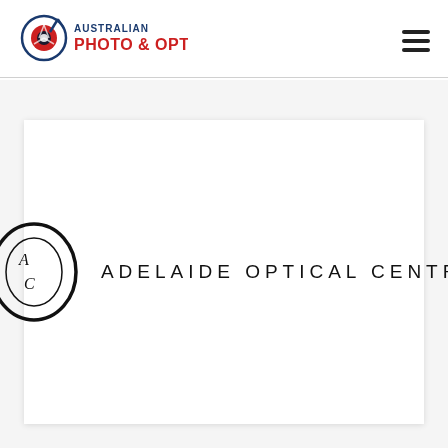[Figure (logo): Australian Photo & Optical logo with camera shutter icon in red and blue, text 'AUSTRALIAN' in blue and 'PHOTO & OPTICAL' in red]
[Figure (other): Hamburger menu icon (three horizontal lines)]
[Figure (logo): Adelaide Optical Centre logo with AOC monogram inside a large O circle and text 'ADELAIDE OPTICAL CENTRE' in wide-spaced uppercase letters]